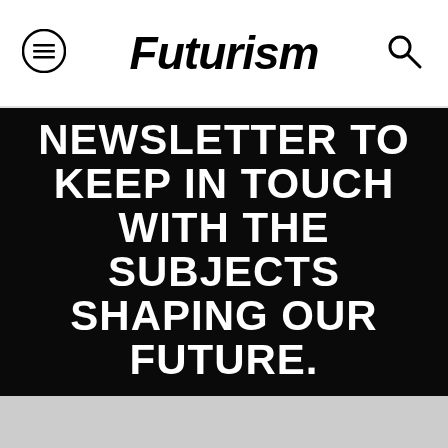Futurism
NEWSLETTER TO KEEP IN TOUCH WITH THE SUBJECTS SHAPING OUR FUTURE.
ENTER YOUR EMAIL
I understand and agree that registration on or use of this site constitutes agreement to its User Agreement and Privacy Policy
→ Subscribe